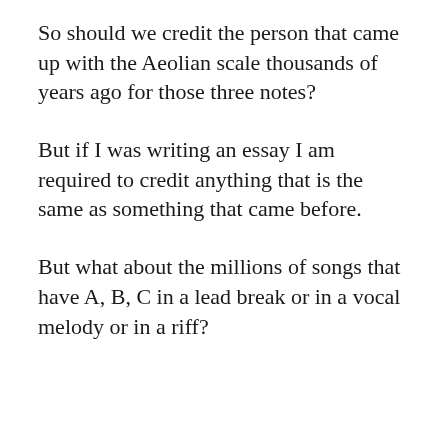So should we credit the person that came up with the Aeolian scale thousands of years ago for those three notes?
But if I was writing an essay I am required to credit anything that is the same as something that came before.
But what about the millions of songs that have A, B, C in a lead break or in a vocal melody or in a riff?